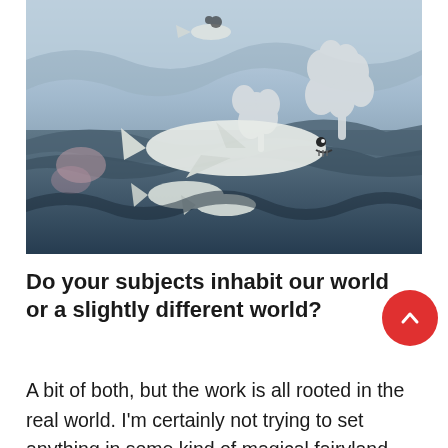[Figure (illustration): A folk-art style painting depicting an underwater/wave scene with white sharks, fish, birds, coral/plant forms in white and blue-grey tones against swirling dark blue waves and lighter blue sky with abstract wave shapes.]
Do your subjects inhabit our world or a slightly different world?
A bit of both, but the work is all rooted in the real world. I'm certainly not trying to set anything in some kind of magical fairyland. However, it would